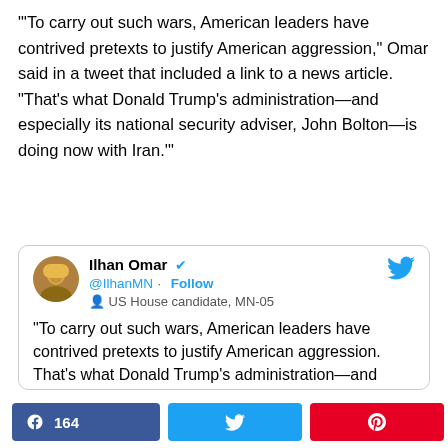"'To carry out such wars, American leaders have contrived pretexts to justify American aggression,' Omar said in a tweet that included a link to a news article. 'That's what Donald Trump's administration—and especially its national security adviser, John Bolton—is doing now with Iran.'"
[Figure (screenshot): Embedded tweet from Ilhan Omar (@IlhanMN) verified US House candidate MN-05, quoting: '“To carry out such wars, American leaders have contrived pretexts to justify American aggression. That’s what Donald Trump’s administration—and especially its national']
Share bar: Facebook 164, Twitter share, Pinterest share, < 164 SHARES